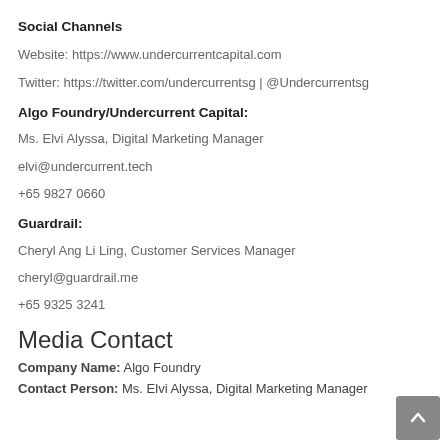Social Channels
Website: https://www.undercurrentcapital.com
Twitter: https://twitter.com/undercurrentsg | @Undercurrentsg
Algo Foundry/Undercurrent Capital:
Ms. Elvi Alyssa, Digital Marketing Manager
elvi@undercurrent.tech
+65 9827 0660
Guardrail:
Cheryl Ang Li Ling, Customer Services Manager
cheryl@guardrail.me
+65 9325 3241
Media Contact
Company Name: Algo Foundry
Contact Person: Ms. Elvi Alyssa, Digital Marketing Manager